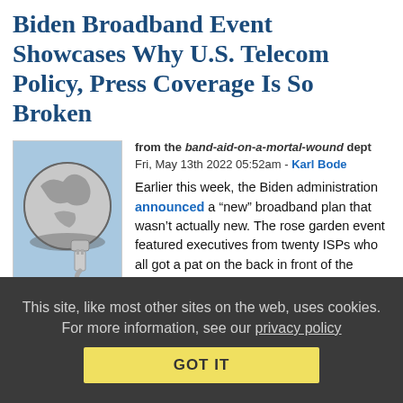Biden Broadband Event Showcases Why U.S. Telecom Policy, Press Coverage Is So Broken
from the band-aid-on-a-mortal-wound dept
Fri, May 13th 2022 05:52am - Karl Bode
[Figure (photo): Thumbnail image of a globe with an ethernet cable, representing broadband/internet connectivity. Labeled 'Broadband' below.]
Earlier this week, the Biden administration announced a “new” broadband plan that wasn’t actually new. The rose garden event featured executives from twenty ISPs who all got a pat on the back in front of the cameras for voluntarily and temporarily participating in a Biden plan to provide a $30 discount off of the broadband bills of low-income Americans.
The Affordable Connectivity Program (ACP) is a temporary plan that provides $30 off low-income broadband bills via a digital benefit f…
This site, like most other sites on the web, uses cookies. For more information, see our privacy policy
GOT IT